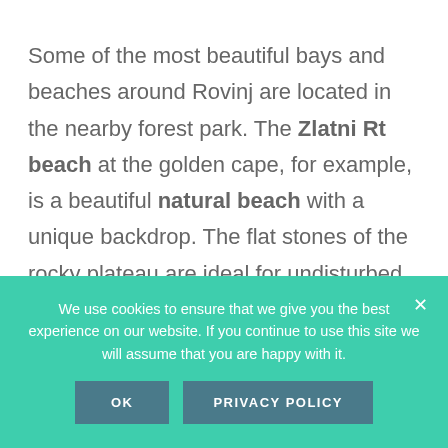Some of the most beautiful bays and beaches around Rovinj are located in the nearby forest park. The Zlatni Rt beach at the golden cape, for example, is a beautiful natural beach with a unique backdrop. The flat stones of the rocky plateau are ideal for undisturbed sunbathing, and the refreshing and clear sea ensures cool pleasure. Remarkable are also the many pine trees that line the coast and
We use cookies to ensure that we give you the best experience on our website. If you continue to use this site we will assume that you are happy with it.